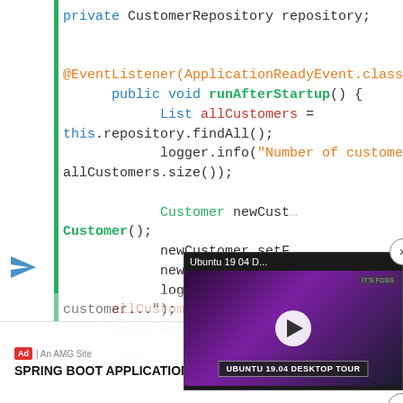[Figure (screenshot): Java code snippet showing Spring Boot application code with CustomerRepository, @EventListener, runAfterStartup method, Customer creation and repository operations. An advertisement banner for 'Spring Boot Application' and a video popup for 'Ubuntu 19 04 D...' (Ubuntu 19.04 Desktop Tour) overlay the code.]